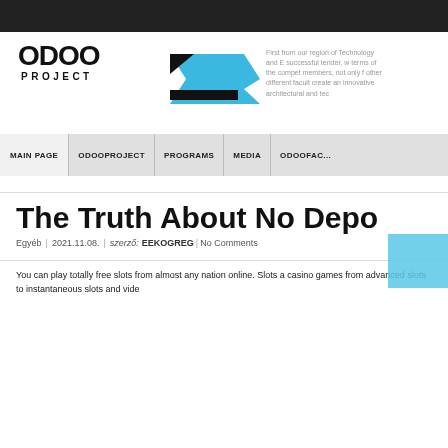[Figure (logo): ODOO PROJECT logo with black bold text and a blue/black geometric arrow/chevron shape]
First from our region... of Technology and E... successful tender, w... terms of the compet... members, not only f... other different facult... create an innovative... architectural and tec...
MAIN PAGE | ODOOPROJECT | PROGRAMS | MEDIA | ODOOFAC...
The Truth About No Depo...
Egyéb | 2021.11.08. | szerző: EEKOGREG |No Comments
You can play totally free slots from almost any nation online. Slots a... casino games from advanced slots to instantaneous slots and vide...